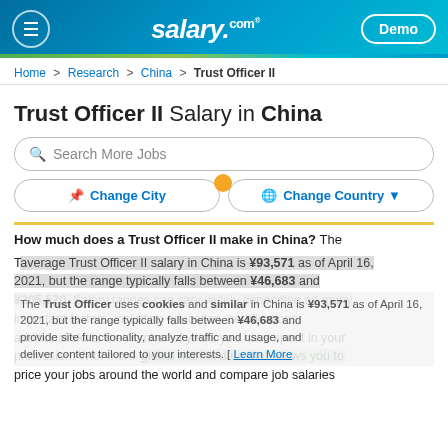salary.com — Demo
Home > Research > China > Trust Officer II
Trust Officer II Salary in China
Search More Jobs
Change City | Change Country
How much does a Trust Officer II make in China?
The average Trust Officer II salary in China is ¥93,571 as of April 16, 2021, but the range typically falls between ¥46,683 and ¥205,520. Salary ranges can vary widely depending on many important factors, including education, certifications, additional skills, the number of years you have spent in your profession. With more global market data that allows you to price your jobs around the world and compare job salaries